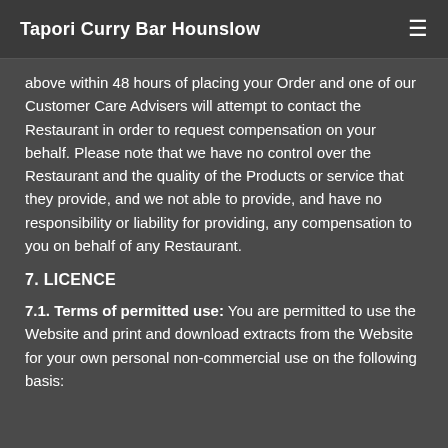Tapori Curry Bar Hounslow
above within 48 hours of placing your Order and one of our Customer Care Advisers will attempt to contact the Restaurant in order to request compensation on your behalf. Please note that we have no control over the Restaurant and the quality of the Products or service that they provide, and we not able to provide, and have no responsibility or liability for providing, any compensation to you on behalf of any Restaurant.
7. LICENCE
7.1. Terms of permitted use: You are permitted to use the Website and print and download extracts from the Website for your own personal non-commercial use on the following basis: